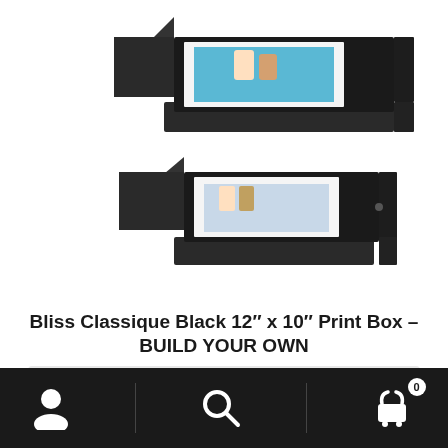[Figure (photo): Two black print boxes open, showing framed photos inside — one portrait and one square — with magnetic closures, on a white background.]
Bliss Classique Black 12" x 10" Print Box – BUILD YOUR OWN
£ 23.64 inc VAT
Top quality boxes. British made.